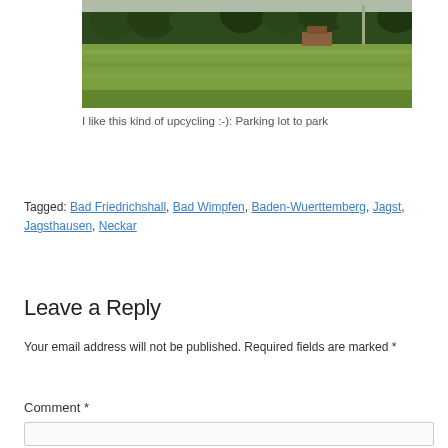[Figure (photo): Outdoor landscape photo showing green fields and trees under an overcast sky, with a pole visible in the background.]
I like this kind of upcycling :-): Parking lot to park
Tagged: Bad Friedrichshall, Bad Wimpfen, Baden-Wuerttemberg, Jagst, Jagsthausen, Neckar
Leave a Reply
Your email address will not be published. Required fields are marked *
Comment *